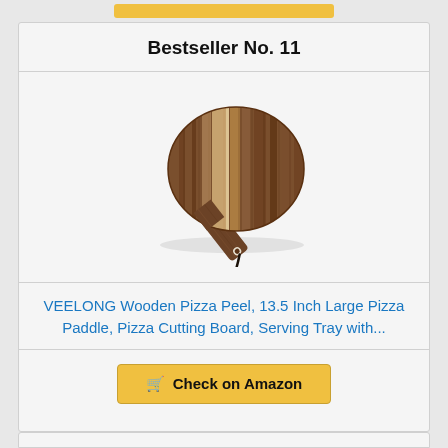Bestseller No. 11
[Figure (photo): Wooden pizza peel / paddle board with round head and long handle, made from striped acacia wood, with a black leather cord hanging loop on the handle end.]
VEELONG Wooden Pizza Peel, 13.5 Inch Large Pizza Paddle, Pizza Cutting Board, Serving Tray with...
Check on Amazon